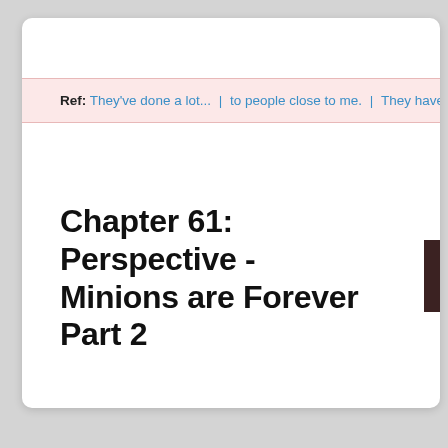Ref: They've done a lot... | to people close to me. | They have m...
Chapter 61: Perspective - Minions are Forever Part 2